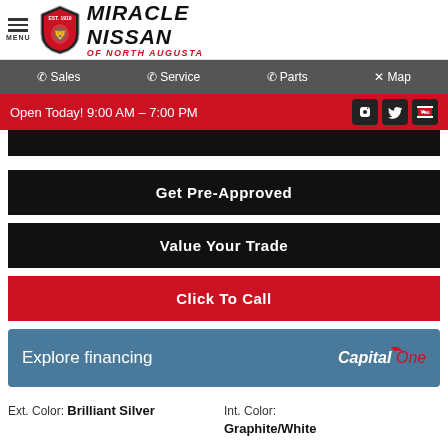MIRACLE NISSAN OF NORTH AUGUSTA
Sales  Service  Parts  Map
Open Today! 9:00 AM - 7:00 PM
Get Pre-Approved
Value Your Trade
Click To Call
Explore financing
Ext. Color: Brilliant Silver    Int. Color: Graphite/White